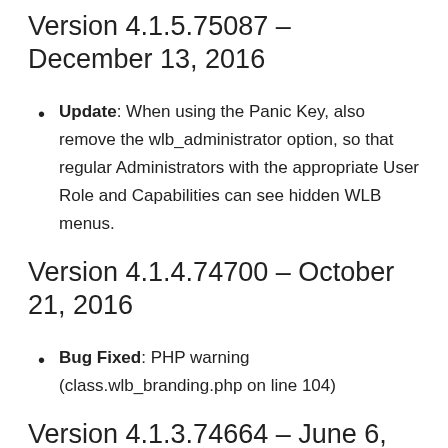Version 4.1.5.75087 – December 13, 2016
Update: When using the Panic Key, also remove the wlb_administrator option, so that regular Administrators with the appropriate User Role and Capabilities can see hidden WLB menus.
Version 4.1.4.74700 – October 21, 2016
Bug Fixed: PHP warning (class.wlb_branding.php on line 104)
Version 4.1.3.74664 – June 6,